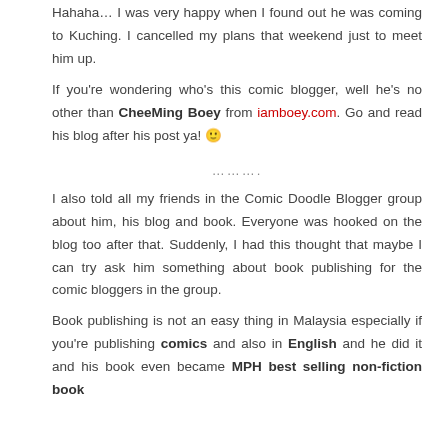Hahaha… I was very happy when I found out he was coming to Kuching. I cancelled my plans that weekend just to meet him up.
If you're wondering who's this comic blogger, well he's no other than CheeMing Boey from iamboey.com. Go and read his blog after his post ya! 🙂
……….
I also told all my friends in the Comic Doodle Blogger group about him, his blog and book. Everyone was hooked on the blog too after that. Suddenly, I had this thought that maybe I can try ask him something about book publishing for the comic bloggers in the group.
Book publishing is not an easy thing in Malaysia especially if you're publishing comics and also in English and he did it and his book even became MPH best selling non-fiction book